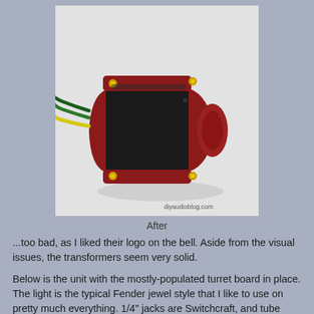[Figure (photo): Photo of a red and black audio transformer with gold screws and colored wires (green, yellow) emerging from the left side. Watermark reads diyaudioblog.com]
After
...too bad, as I liked their logo on the bell. Aside from the visual issues, the transformers seem very solid.
Below is the unit with the mostly-populated turret board in place. The light is the typical Fender jewel style that I like to use on pretty much everything. 1/4" jacks are Switchcraft, and tube sockets are Belton. The pot is a high quality PEC unit from Canada, which I feel is worth the extra scratch over